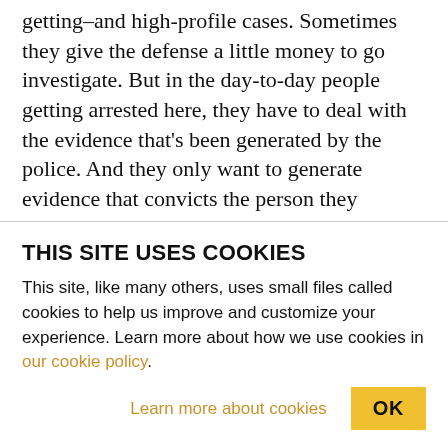getting–and high-profile cases. Sometimes they give the defense a little money to go investigate. But in the day-to-day people getting arrested here, they have to deal with the evidence that's been generated by the police. And they only want to generate evidence that convicts the person they arrested, because it's all about arrest rates and conviction rates. It's not necessarily about whether you got the right person. COLBERT: I just want to tell you that I was a public defender for eleven years. So we don't want to paint the brush too broadly here. There are many public defenders who arefficer…
THIS SITE USES COOKIES
This site, like many others, uses small files called cookies to help us improve and customize your experience. Learn more about how we use cookies in our cookie policy.
Learn more about cookies    OK